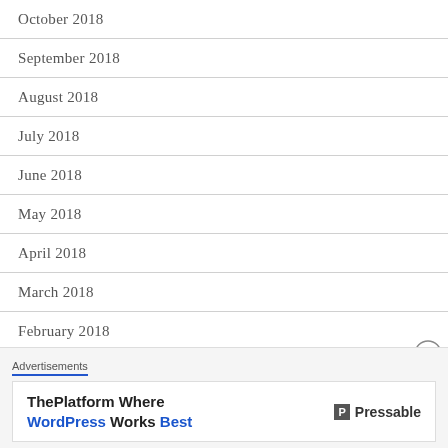October 2018
September 2018
August 2018
July 2018
June 2018
May 2018
April 2018
March 2018
February 2018
January 2018
December 2017
Advertisements
[Figure (other): Pressable advertisement: ThePlatform Where WordPress Works Best]